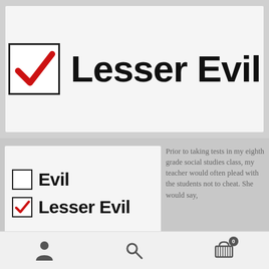[Figure (illustration): Checkbox with red checkmark checked, next to bold text 'Lesser Evil' on light gray background]
[Figure (illustration): Two checkboxes: empty 'Evil' and checked 'Lesser Evil' with red checkmark on white card]
Prior to taking tests in my eighth grade social studies class, my teacher would often plead with the students not to cheat. She would say,
[Figure (illustration): Bottom navigation bar with person icon, search icon, and shopping cart icon with badge showing 0]